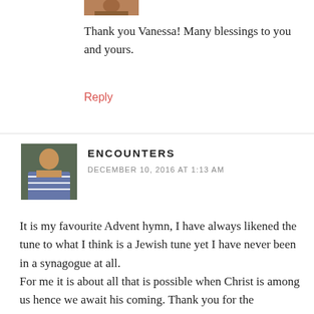[Figure (photo): Small cropped avatar photo at top]
Thank you Vanessa! Many blessings to you and yours.
Reply
[Figure (photo): Profile photo of commenter Encounters - person in striped dress]
ENCOUNTERS
DECEMBER 10, 2016 AT 1:13 AM
It is my favourite Advent hymn, I have always likened the tune to what I think is a Jewish tune yet I have never been in a synagogue at all.
For me it is about all that is possible when Christ is among us hence we await his coming. Thank you for the reflection.